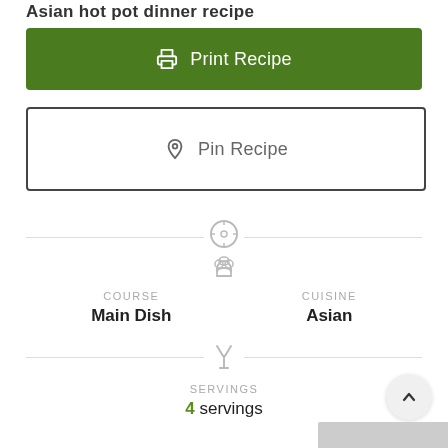Asian hot pot dinner recipe
Print Recipe
Pin Recipe
COURSE
Main Dish
CUISINE
Asian
SERVINGS
4 servings